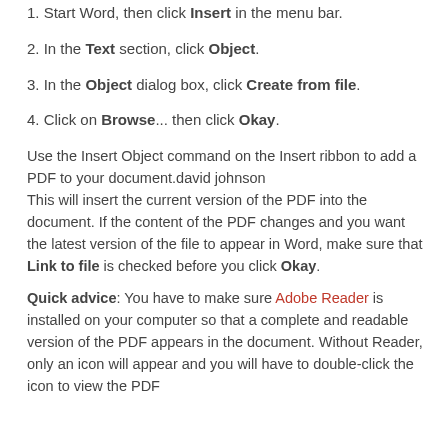1. Start Word, then click Insert in the menu bar.
2. In the Text section, click Object.
3. In the Object dialog box, click Create from file.
4. Click on Browse... then click Okay.
Use the Insert Object command on the Insert ribbon to add a PDF to your document.david johnson
This will insert the current version of the PDF into the document. If the content of the PDF changes and you want the latest version of the file to appear in Word, make sure that Link to file is checked before you click Okay.
Quick advice: You have to make sure Adobe Reader is installed on your computer so that a complete and readable version of the PDF appears in the document. Without Reader, only an icon will appear and you will have to double-click the icon to view the PDF